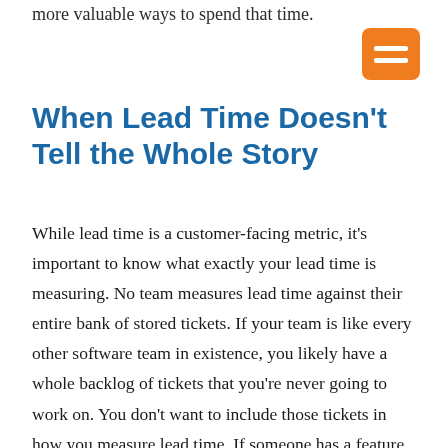more valuable ways to spend that time.
When Lead Time Doesn't Tell the Whole Story
While lead time is a customer-facing metric, it's important to know what exactly your lead time is measuring. No team measures lead time against their entire bank of stored tickets. If your team is like every other software team in existence, you likely have a whole backlog of tickets that you're never going to work on. You don't want to include those tickets in how you measure lead time. If someone has a feature idea but neither you nor the customer think it's important to implement right away, the lead time on that ticket can